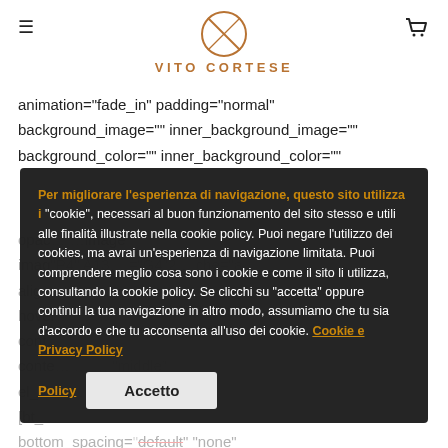VITO CORTESE (logo with hamburger menu and cart icon)
animation="fade_in" padding="normal" background_image="" inner_background_image="" background_color="" inner_background_color=""
[Figure (screenshot): Cookie consent overlay modal on dark semi-transparent background with Italian cookie policy text and Accept button]
Per migliorare l'esperienza di navigazione, questo sito utilizza i "cookie", necessari al buon funzionamento del sito stesso e utili alle finalità illustrate nella cookie policy. Puoi negare l'utilizzo dei cookies, ma avrai un'esperienza di navigazione limitata. Puoi comprendere meglio cosa sono i cookie e come il sito li utilizza, consultando la cookie policy. Se clicchi su "accetta" oppure continui la tua navigazione in altro modo, assumiamo che tu sia d'accordo e che tu acconsenta all'uso dei cookie. Cookie e Privacy Policy  Accetto
opac... image imag... align... hover... cont... conte... el_id... [bt_ bottom_spacing="" "none" border_width="" el_id="" el_class="" el_style="] [/bt_bb_separator][bt_bb_headline